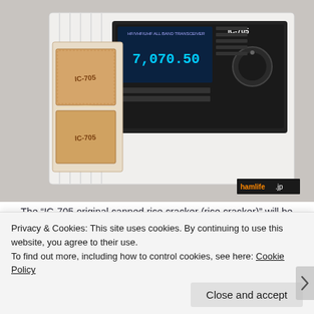[Figure (photo): An IC-705 ham radio transceiver displayed in/beside a white box, alongside IC-705 branded rice crackers in packaging. A hamlife.jp watermark badge is visible in the lower right of the image.]
The “IC-705 original canned rice cracker (rice cracker)” will be presented to everyone who reserves the IC-705 so far. 18 pieces (3 sheets x 6 bags) of 7 cm square tile rice crackers with the IC-705 model name and the front
Privacy & Cookies: This site uses cookies. By continuing to use this website, you agree to their use.
To find out more, including how to control cookies, see here: Cookie Policy
Close and accept